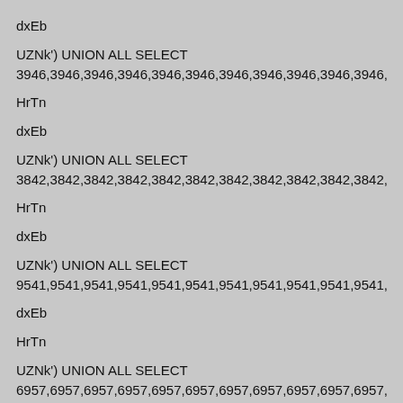dxEb
UZNk') UNION ALL SELECT
3946,3946,3946,3946,3946,3946,3946,3946,3946,3946,3946,3946,
HrTn
dxEb
UZNk') UNION ALL SELECT
3842,3842,3842,3842,3842,3842,3842,3842,3842,3842,3842,3842,
HrTn
dxEb
UZNk') UNION ALL SELECT
9541,9541,9541,9541,9541,9541,9541,9541,9541,9541,9541,9541,
dxEb
HrTn
UZNk') UNION ALL SELECT
6957,6957,6957,6957,6957,6957,6957,6957,6957,6957,6957,6957,